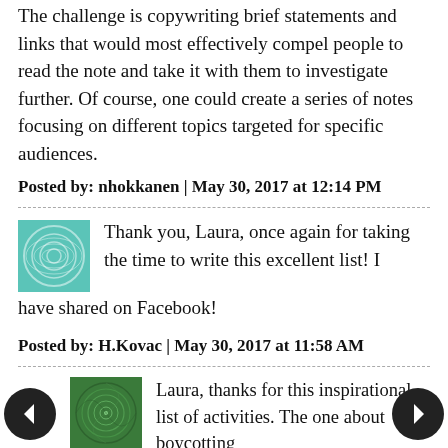The challenge is copywriting brief statements and links that would most effectively compel people to read the note and take it with them to investigate further. Of course, one could create a series of notes focusing on different topics targeted for specific audiences.
Posted by: nhokkanen | May 30, 2017 at 12:14 PM
Thank you, Laura, once again for taking the time to write this excellent list! I have shared on Facebook!
Posted by: H.Kovac | May 30, 2017 at 11:58 AM
Laura, thanks for this inspirational list of activities. The one about boycotting